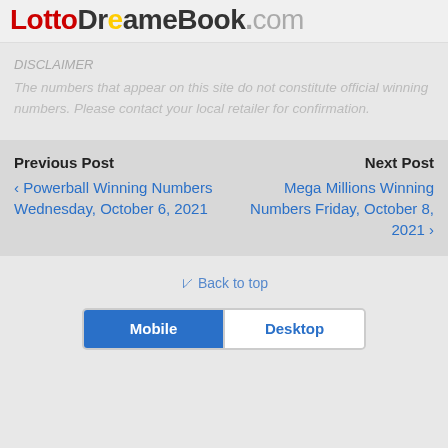[Figure (logo): LottoDreameBook.com logo with colored text: Lotto in red, Dream in dark/black, e in yellow, Book in dark/black, .com in gray]
DISCLAIMER
The numbers that appear on this site do not constitute official winning numbers. Please contact your local retailer for confirmation.
Previous Post
‹ Powerball Winning Numbers Wednesday, October 6, 2021
Next Post
Mega Millions Winning Numbers Friday, October 8, 2021 ›
⇪ Back to top
Mobile  Desktop